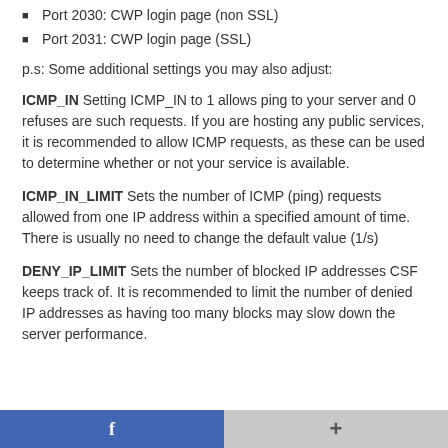Port 2030: CWP login page (non SSL)
Port 2031: CWP login page (SSL)
p.s: Some additional settings you may also adjust:
ICMP_IN Setting ICMP_IN to 1 allows ping to your server and 0 refuses are such requests. If you are hosting any public services, it is recommended to allow ICMP requests, as these can be used to determine whether or not your service is available.
ICMP_IN_LIMIT Sets the number of ICMP (ping) requests allowed from one IP address within a specified amount of time. There is usually no need to change the default value (1/s)
DENY_IP_LIMIT Sets the number of blocked IP addresses CSF keeps track of. It is recommended to limit the number of denied IP addresses as having too many blocks may slow down the server performance.
f +